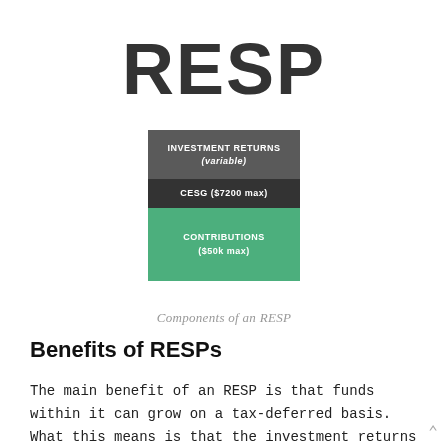RESP
[Figure (infographic): Stacked diagram showing components of an RESP: top layer (dark grey) = INVESTMENT RETURNS (variable), middle layer (black) = CESG ($7200 max), bottom layer (green) = CONTRIBUTIONS ($50k max)]
Components of an RESP
Benefits of RESPs
The main benefit of an RESP is that funds within it can grow on a tax-deferred basis. What this means is that the investment returns (capital gains and dividends) are not taxed as they would be in a non-registered